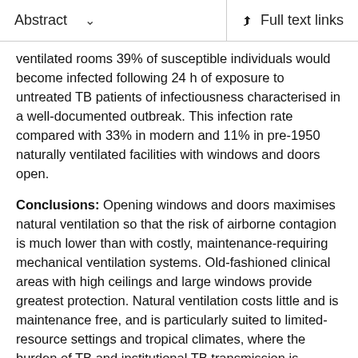Abstract   ∨   Full text links
ventilated rooms 39% of susceptible individuals would become infected following 24 h of exposure to untreated TB patients of infectiousness characterised in a well-documented outbreak. This infection rate compared with 33% in modern and 11% in pre-1950 naturally ventilated facilities with windows and doors open.
Conclusions: Opening windows and doors maximises natural ventilation so that the risk of airborne contagion is much lower than with costly, maintenance-requiring mechanical ventilation systems. Old-fashioned clinical areas with high ceilings and large windows provide greatest protection. Natural ventilation costs little and is maintenance free, and is particularly suited to limited-resource settings and tropical climates, where the burden of TB and institutional TB transmission is highest. In settings where respiratory isolation is difficult and climate permits, windows and doors should be opened to reduce